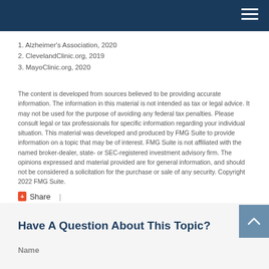1. Alzheimer's Association, 2020
2. ClevelandClinic.org, 2019
3. MayoClinic.org, 2020
The content is developed from sources believed to be providing accurate information. The information in this material is not intended as tax or legal advice. It may not be used for the purpose of avoiding any federal tax penalties. Please consult legal or tax professionals for specific information regarding your individual situation. This material was developed and produced by FMG Suite to provide information on a topic that may be of interest. FMG Suite is not affiliated with the named broker-dealer, state- or SEC-registered investment advisory firm. The opinions expressed and material provided are for general information, and should not be considered a solicitation for the purchase or sale of any security. Copyright 2022 FMG Suite.
Share |
Have A Question About This Topic?
Name